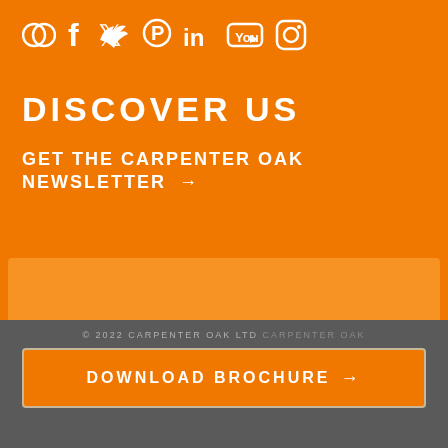[Figure (infographic): Social media icons in white on orange background: circle/logo icon, Facebook f, Twitter bird, Pinterest p, LinkedIn in, YouTube play, Instagram camera]
DISCOVER US
GET THE CARPENTER OAK NEWSLETTER →
[Figure (other): Email newsletter sign-up form with two blurred input fields and a send arrow on an orange semi-transparent background]
© 2022 CARPENTER OAK LTD CARPENTER OAK
DOWNLOAD BROCHURE →